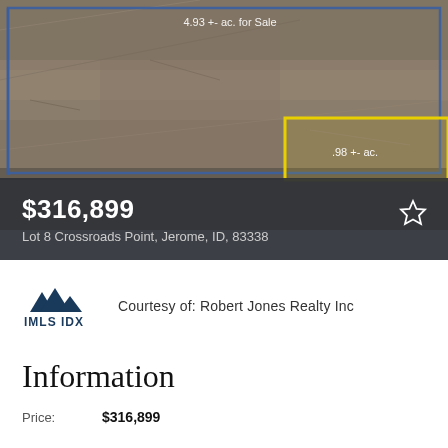[Figure (photo): Aerial satellite view of land parcels. Blue border outlines a larger 4.93+- ac. for Sale area. Yellow border highlights a smaller .98 +- ac. parcel in the upper right.]
$316,899
Lot 8 Crossroads Point, Jerome, ID, 83338
[Figure (logo): IMLS IDX logo with mountain icon in dark blue]
Courtesy of: Robert Jones Realty Inc
Information
Price: $316,899